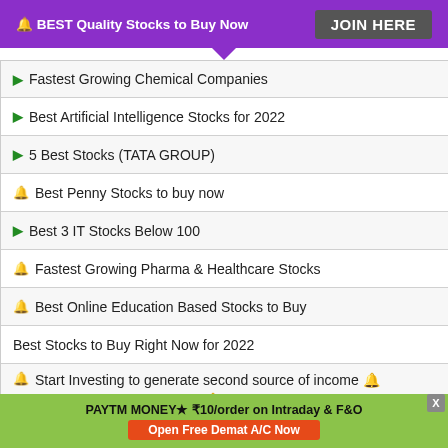🔔 BEST Quality Stocks to Buy Now  JOIN HERE
▶ Fastest Growing Chemical Companies
▶ Best Artificial Intelligence Stocks for 2022
▶ 5 Best Stocks (TATA GROUP)
🔔 Best Penny Stocks to buy now
▶ Best 3 IT Stocks Below 100
🔔 Fastest Growing Pharma & Healthcare Stocks
🔔 Best Online Education Based Stocks to Buy
Best Stocks to Buy Right Now for 2022
🔔 Start Investing to generate second source of income 🔔 Open Demat Account Now 🔔 India's No. 1 Retail Stock Bro…
PAYTM MONEY★ ₹10/order on Intraday & F&O  Open Free Demat A/C Now